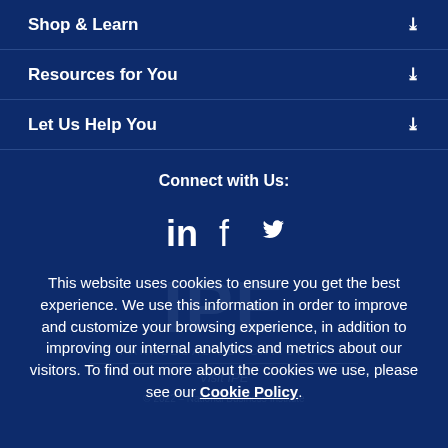Shop & Learn
Resources for You
Let Us Help You
Connect with Us:
[Figure (infographic): Social media icons: LinkedIn, Facebook, Twitter]
This website uses cookies to ensure you get the best experience. We use this information in order to improve and customize your browsing experience, in addition to improving our internal analytics and metrics about our visitors. To find out more about the cookies we use, please see our Cookie Policy.